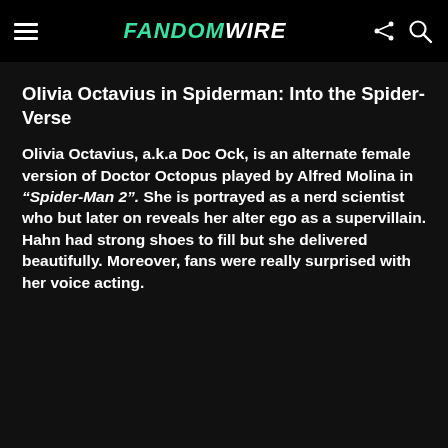FandomWire
Olivia Octavius in Spiderman: Into the Spider-Verse
Olivia Octavius, a.k.a Doc Ock, is an alternate female version of Doctor Octopus played by Alfred Molina in “Spider-Man 2”. She is portrayed as a nerd scientist who but later on reveals her alter ego as a supervillain. Hahn had strong shoes to fill but she delivered beautifully. Moreover, fans were really surprised with her voice acting.